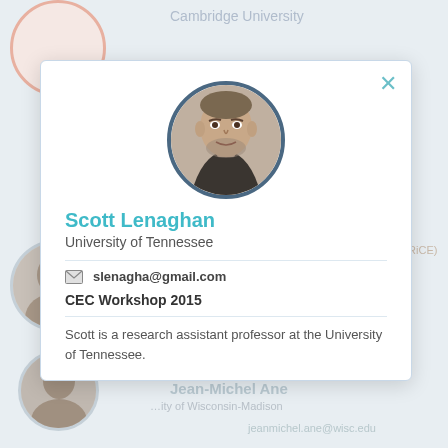Cambridge University
[Figure (photo): Circular profile photo of Scott Lenaghan, a man in a dark jacket]
Scott Lenaghan
University of Tennessee
slenagha@gmail.com
CEC Workshop 2015
Scott is a research assistant professor at the University of Tennessee.